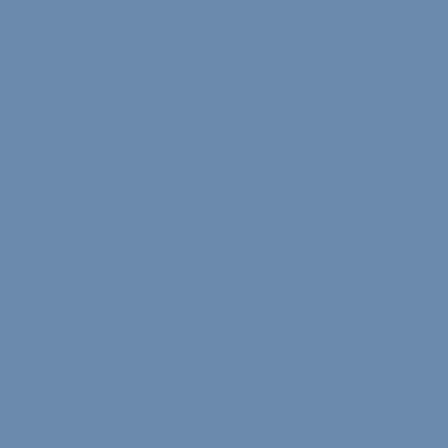job. How exactly did reporters find themselves into a corner where they fear being attacked as merely question statements made by officialdom
Someone - I know not who - once said that the between a reporter and a recorder is that a repo context.
If a government official makes a statement that on some level, pointing that out does not make partisan.
Posted by: Colin Miner at November 18, 2004 9:42 AM
Jay, how or why does "the contraption" establis boundaries of "objectivity" that help delineate "
It rings true that "the press" already exists acros spectrum of opinion/ideology. The "opposition" already on the right/left and in-between, as you your list of truthtellers and in "opinion" shows t voice on a channel practicing news according to